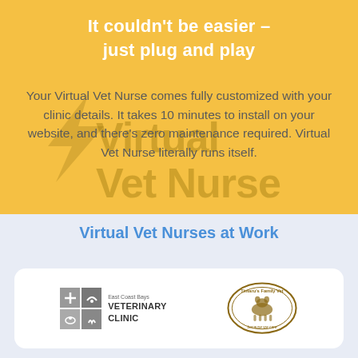It couldn't be easier – just plug and play
Your Virtual Vet Nurse comes fully customized with your clinic details. It takes 10 minutes to install on your website, and there's zero maintenance required. Virtual Vet Nurse literally runs itself.
Virtual Vet Nurses at Work
[Figure (logo): East Coast Bays Veterinary Clinic logo and Timaru's Family Vet logo inside a white rounded card]